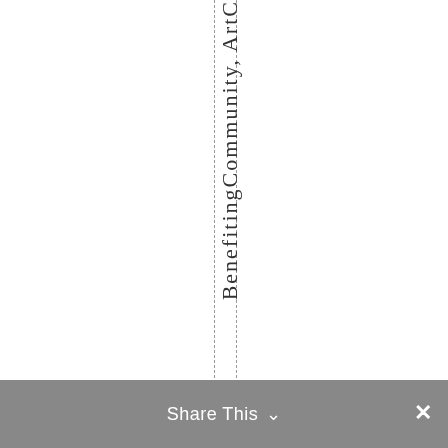BenefitingCommunity,ArtC...
[Figure (screenshot): Share This bar with dropdown arrow and close button at bottom of screen]